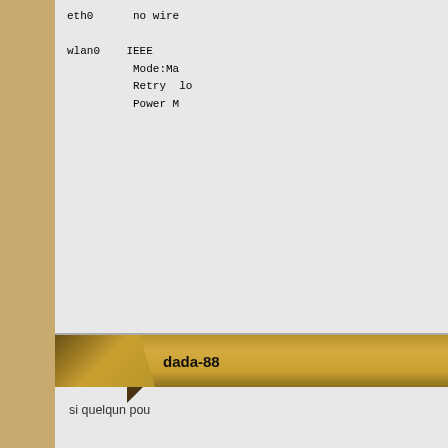eth0      no wire
wlan0    IEEE
          Mode:Ma
          Retry  lo
          Power M
dada-88
si quelqun pou
bahoui
[Figure (photo): Photo of a fluffy light-colored dog, likely a poodle or doodle, looking toward camera]
tu peux essaye
Mettez [résolu] d